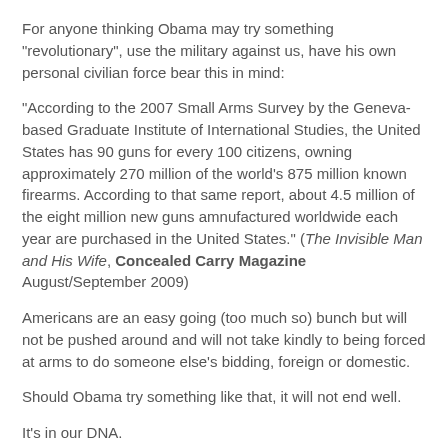For anyone thinking Obama may try something "revolutionary", use the military against us, have his own personal civilian force bear this in mind:
"According to the 2007 Small Arms Survey by the Geneva-based Graduate Institute of International Studies, the United States has 90 guns for every 100 citizens, owning approximately 270 million of the world's 875 million known firearms. According to that same report, about 4.5 million of the eight million new guns amnufactured worldwide each year are purchased in the United States." (The Invisible Man and His Wife, Concealed Carry Magazine August/September 2009)
Americans are an easy going (too much so) bunch but will not be pushed around and will not take kindly to being forced at arms to do someone else's bidding, foreign or domestic.
Should Obama try something like that, it will not end well.
It's in our DNA.